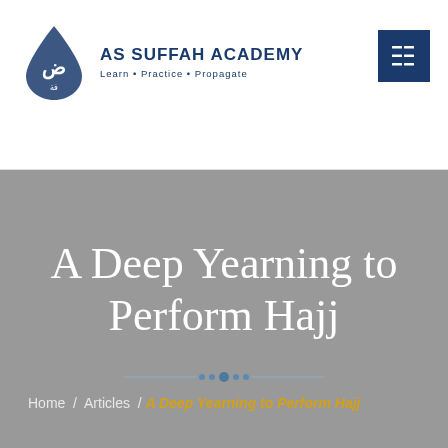AS SUFFAH ACADEMY Learn • Practice • Propagate
A Deep Yearning to Perform Hajj
Home / Articles / A Deep Yearning to Perform Hajj